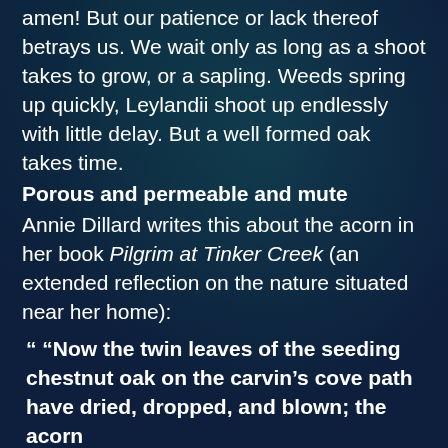amen!  But our patience or lack thereof betrays us. We wait only as long as a shoot takes to grow, or a sapling. Weeds spring up quickly, Leylandii shoot up endlessly with little delay. But a well formed oak takes time.
Porous and permeable and mute
Annie Dillard writes this about the acorn in her book Pilgrim at Tinker Creek (an extended reflection on the nature situated near her home):
“ “Now the twin leaves of the seeding chestnut oak on the carvin’s cove path have dried, dropped, and blown; the acorn